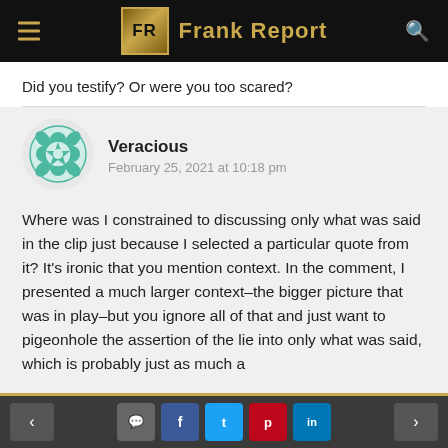Frank Report
Did you testify? Or were you too scared?
Veracious
February 25, 2021 at 10:18 pm
Where was I constrained to discussing only what was said in the clip just because I selected a particular quote from it? It’s ironic that you mention context. In the comment, I presented a much larger context–the bigger picture that was in play–but you ignore all of that and just want to pigeonhole the assertion of the lie into only what was said, which is probably just as much a
< [comment] f t p in >